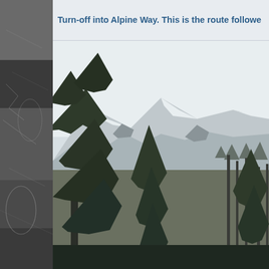[Figure (photo): Left side strip: close-up photograph of ice or frozen water with textural detail, in dark grey and silver tones]
Turn-off into Alpine Way. This is the route followe
[Figure (photo): Landscape photograph showing snow-covered mountain peaks in the background with dark green pine/fir trees in the foreground, overcast sky, black and white and dark green tones]